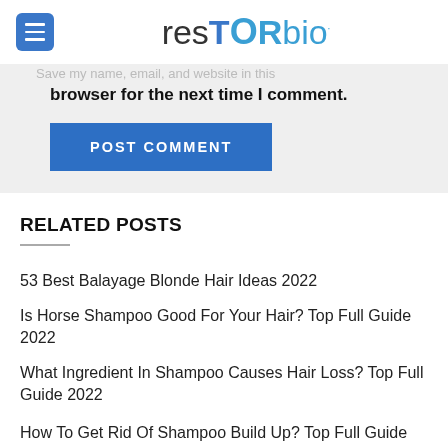resTORbio
Save my name, email, and website in this browser for the next time I comment.
POST COMMENT
RELATED POSTS
53 Best Balayage Blonde Hair Ideas 2022
Is Horse Shampoo Good For Your Hair? Top Full Guide 2022
What Ingredient In Shampoo Causes Hair Loss? Top Full Guide 2022
How To Get Rid Of Shampoo Build Up? Top Full Guide